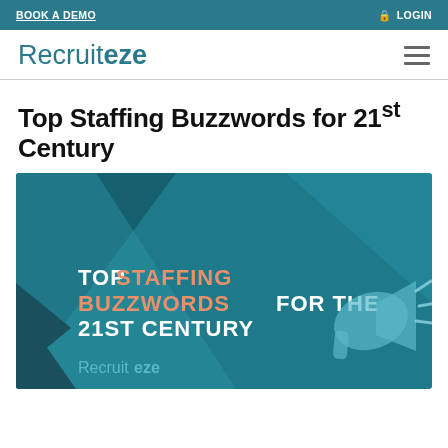BOOK A DEMO | LOGIN
Recruiteze
Top Staffing Buzzwords for 21st Century
[Figure (illustration): Teal banner graphic with text 'TOP STAFFING BUZZWORDS FOR THE 21ST CENTURY' and a megaphone icon, with Recruiteze logo at bottom left]